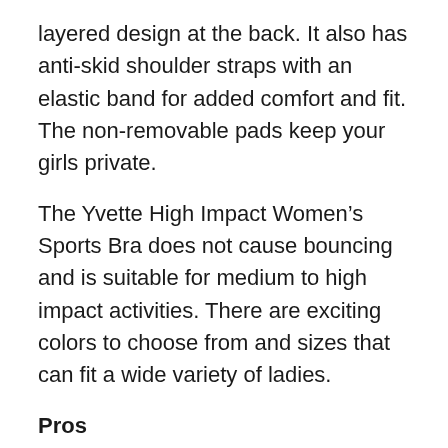layered design at the back. It also has anti-skid shoulder straps with an elastic band for added comfort and fit. The non-removable pads keep your girls private.
The Yvette High Impact Women’s Sports Bra does not cause bouncing and is suitable for medium to high impact activities. There are exciting colors to choose from and sizes that can fit a wide variety of ladies.
Pros
Supportive mesh making it very comfortable